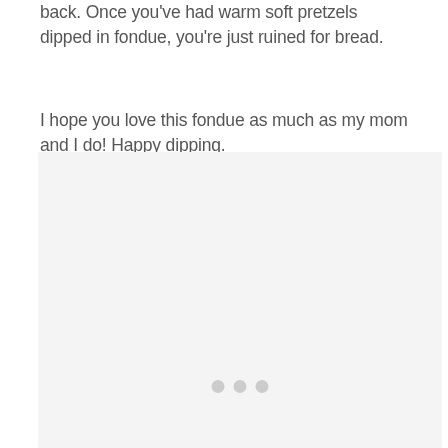back. Once you've had warm soft pretzels dipped in fondue, you're just ruined for bread.
I hope you love this fondue as much as my mom and I do! Happy dipping.
[Figure (photo): Light gray placeholder image box with three small gray dots centered near the bottom, indicating a loading or placeholder image area.]